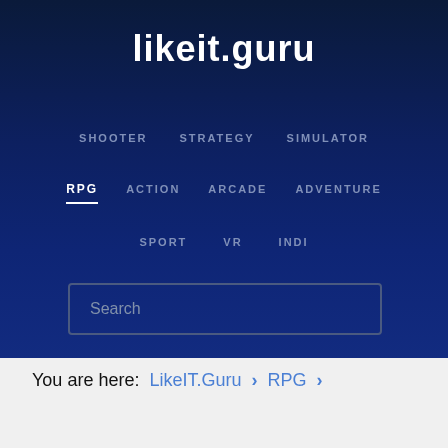likeit.guru
SHOOTER
STRATEGY
SIMULATOR
RPG
ACTION
ARCADE
ADVENTURE
SPORT
VR
INDI
Search
You are here: LikeIT.Guru > RPG